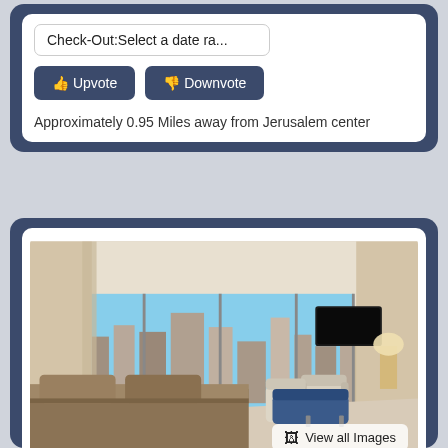Check-Out:Select a date ra...
Upvote
Downvote
Approximately 0.95 Miles away from Jerusalem center
[Figure (photo): Hotel room with large floor-to-ceiling windows overlooking a city skyline. Room features a bed in the foreground, seating area with armchairs and a blue sofa, wall-mounted TV, and a lamp. Daytime with city buildings visible outside.]
View all Images
Herbert Samuel Hotel...